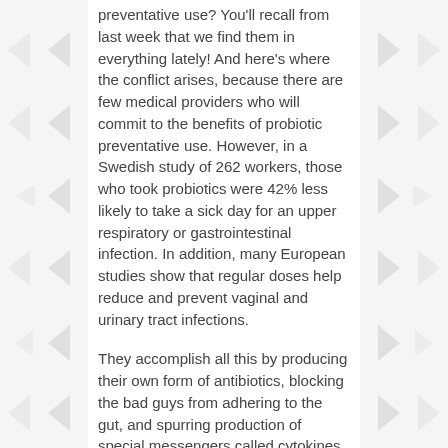preventative use? You'll recall from last week that we find them in everything lately! And here's where the conflict arises, because there are few medical providers who will commit to the benefits of probiotic preventative use. However, in a Swedish study of 262 workers, those who took probiotics were 42% less likely to take a sick day for an upper respiratory or gastrointestinal infection. In addition, many European studies show that regular doses help reduce and prevent vaginal and urinary tract infections.
They accomplish all this by producing their own form of antibiotics, blocking the bad guys from adhering to the gut, and spurring production of special messengers called cytokines, which communicate with the immune system throughout the body. There is also a body growing evidence that probiotics may even enhance your mood, thanks to a similar